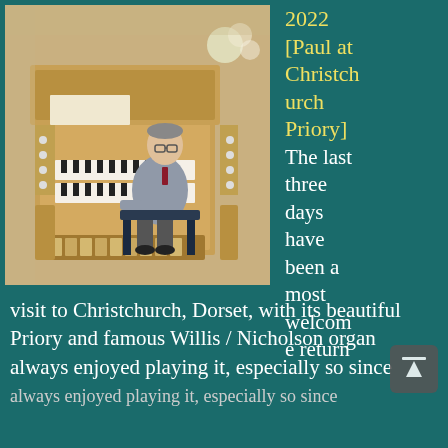[Figure (photo): Man (Paul) seated at a large pipe organ console with multiple keyboards, in a church setting (Christchurch Priory). The organ console is made of light oak wood. The man wears a grey suit and dark red tie.]
2022 [Paul at Christchurch Priory] The last three days have been a most welcome return visit to Christchurch, Dorset, with its beautiful Priory and famous Willis / Nicholson organ always enjoyed playing it, especially so since always enjoyed playing it, especially so since